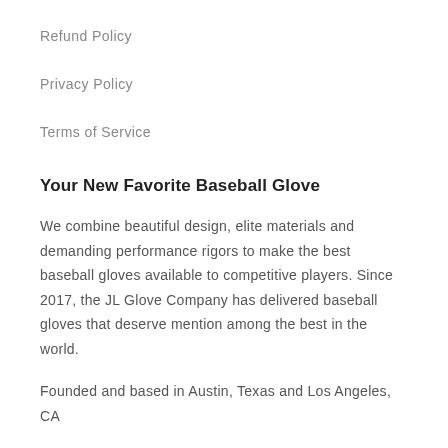Refund Policy
Privacy Policy
Terms of Service
Your New Favorite Baseball Glove
We combine beautiful design, elite materials and demanding performance rigors to make the best baseball gloves available to competitive players. Since 2017, the JL Glove Company has delivered baseball gloves that deserve mention among the best in the world.
Founded and based in Austin, Texas and Los Angeles, CA